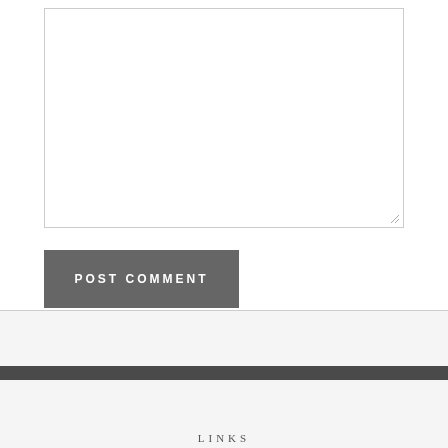[Figure (screenshot): A web form textarea input box, empty, with a resize handle at the bottom-right corner]
POST COMMENT
LINKS